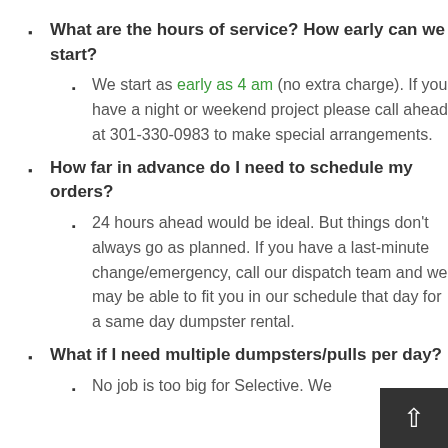What are the hours of service? How early can we start?
We start as early as 4 am (no extra charge). If you have a night or weekend project please call ahead at 301-330-0983 to make special arrangements.
How far in advance do I need to schedule my orders?
24 hours ahead would be ideal. But things don't always go as planned. If you have a last-minute change/emergency, call our dispatch team and we may be able to fit you in our schedule that day for a same day dumpster rental.
What if I need multiple dumpsters/pulls per day?
No job is too big for Selective. We